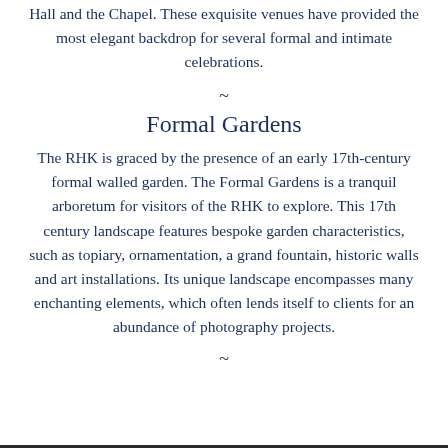Hall and the Chapel. These exquisite venues have provided the most elegant backdrop for several formal and intimate celebrations.
~
Formal Gardens
The RHK is graced by the presence of an early 17th-century formal walled garden. The Formal Gardens is a tranquil arboretum for visitors of the RHK to explore. This 17th century landscape features bespoke garden characteristics, such as topiary, ornamentation, a grand fountain, historic walls and art installations. Its unique landscape encompasses many enchanting elements, which often lends itself to clients for an abundance of photography projects.
~